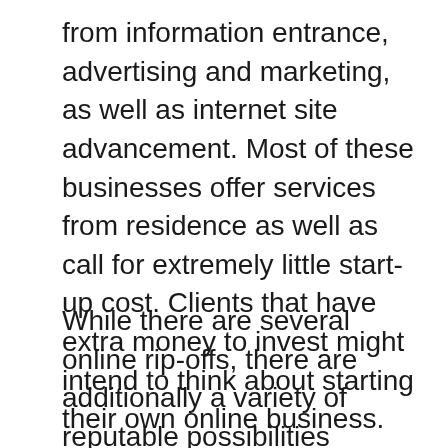from information entrance, advertising and marketing, as well as internet site advancement. Most of these businesses offer services from residence as well as call for extremely little start-up cost. Clients that have extra money to invest might intend to think about starting their own online business.
While there are several online rip-offs, there are additionally a variety of reputable possibilities available. It can be hard to tell a fraud from a reputable service chance, there are a couple of key indicators you can look for to determine if you are functioning with a rip-off or genuine chance. Reputable businesses normally offer a cost-free test to their service or products and assure